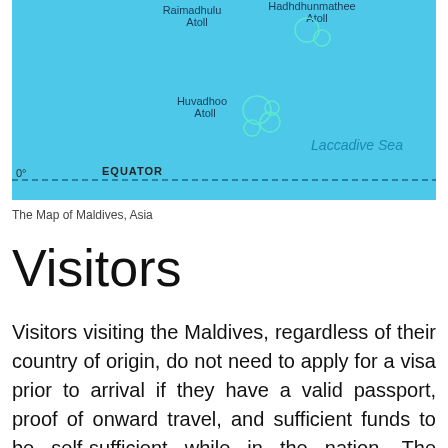[Figure (map): Map of Maldives showing atolls including Raimadhulu Atoll, Hadhdhunmathee Atoll, Huvadhoo Atoll, with Laccadive Sea labeled and the Equator marked at 0°.]
The Map of Maldives, Asia
Visitors
Visitors visiting the Maldives, regardless of their country of origin, do not need to apply for a visa prior to arrival if they have a valid passport, proof of onward travel, and sufficient funds to be self-sufficient while in the nation. The majority of travelers come to Velana International Airport, which is located on Hulhulé Island, near Malé. Flights from India, Sri Lanka, Doha, Dubai, Singapore,